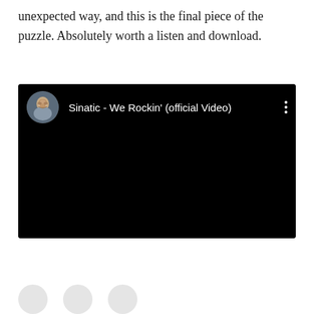unexpected way, and this is the final piece of the puzzle. Absolutely worth a listen and download.
[Figure (screenshot): A YouTube video embed showing 'Sinatic - We Rockin' (official Video)' with a circular avatar of a man on the left, the video title in white text on black background, a three-dot menu icon on the right, and a black video area below.]